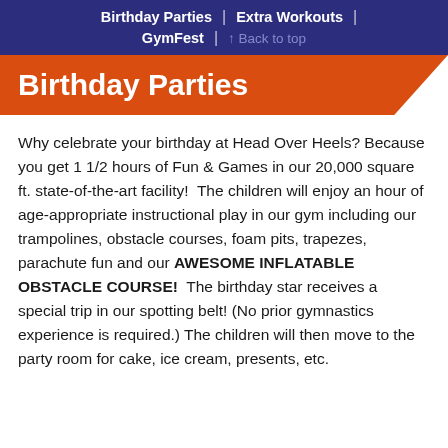Birthday Parties | Extra Workouts | GymFest | ↑ Back to top
Birthday Parties
Why celebrate your birthday at Head Over Heels? Because you get 1 1/2 hours of Fun & Games in our 20,000 square ft. state-of-the-art facility! The children will enjoy an hour of age-appropriate instructional play in our gym including our trampolines, obstacle courses, foam pits, trapezes, parachute fun and our AWESOME INFLATABLE OBSTACLE COURSE! The birthday star receives a special trip in our spotting belt! (No prior gymnastics experience is required.) The children will then move to the party room for cake, ice cream, presents, etc.